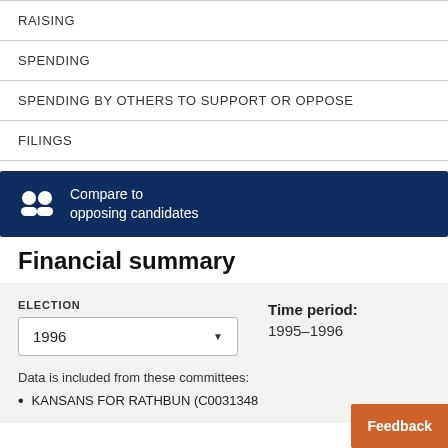RAISING
SPENDING
SPENDING BY OTHERS TO SUPPORT OR OPPOSE
FILINGS
Compare to opposing candidates
Financial summary
ELECTION
1996
Time period:
1995–1996
Data is included from these committees:
KANSANS FOR RATHBUN (C0031348…
Feedback